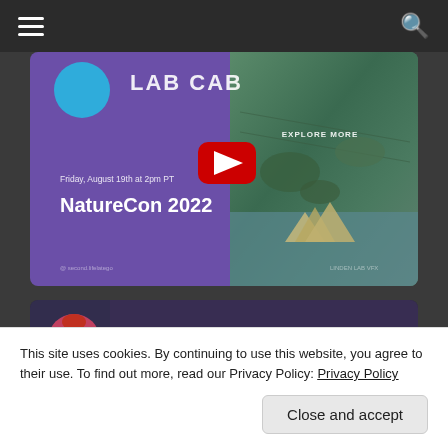Navigation bar with hamburger menu and search icon
[Figure (screenshot): YouTube-style video thumbnail for NatureCon 2022 event. Left side: purple background with 'LAB CAB' logo text and text 'Friday, August 19th at 2pm PT' and 'NatureCon 2022'. Center: red YouTube play button. Right side: aerial photo of tropical landscape with pyramid structures and 'EXPLORE MORE' text.]
[Figure (screenshot): YouTube video playlist item showing 'Record or Stream with OBS ...' with a red-haired avatar thumbnail, playlist icon and options menu icon.]
This site uses cookies. By continuing to use this website, you agree to their use. To find out more, read our Privacy Policy: Privacy Policy
Close and accept